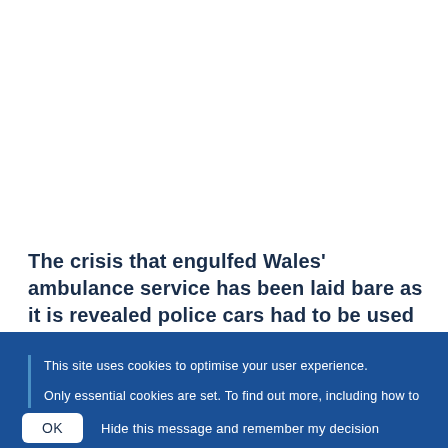The crisis that engulfed Wales' ambulance service has been laid bare as it is revealed police cars had to be used several times in just one weekend to take people to
This site uses cookies to optimise your user experience.

Only essential cookies are set. To find out more, including how to opt out, please visit the Cookies page.
OK   Hide this message and remember my decision